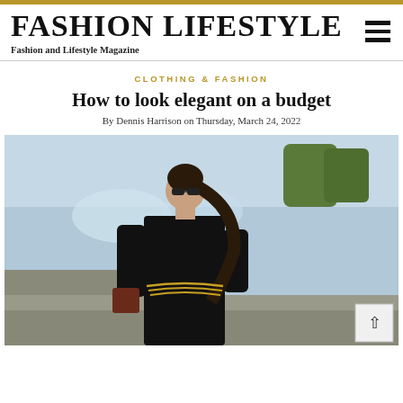FASHION LIFESTYLE — Fashion and Lifestyle Magazine
CLOTHING & FASHION
How to look elegant on a budget
By Dennis Harrison on Thursday, March 24, 2022
[Figure (photo): A woman in a black outfit with a gold chain belt, sunglasses, and a ponytail, standing outdoors near fountains]